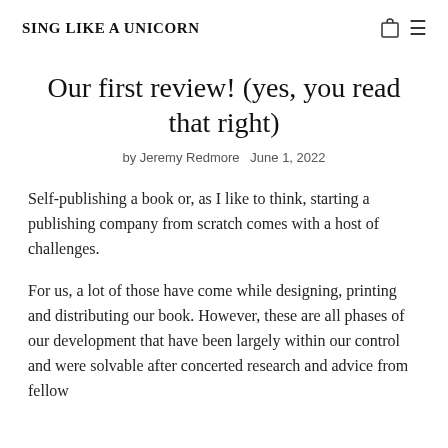SING LIKE A UNICORN
Our first review! (yes, you read that right)
by Jeremy Redmore  June 1, 2022
Self-publishing a book or, as I like to think, starting a publishing company from scratch comes with a host of challenges.
For us, a lot of those have come while designing, printing and distributing our book. However, these are all phases of our development that have been largely within our control and were solvable after concerted research and advice from fellow self-publishers.